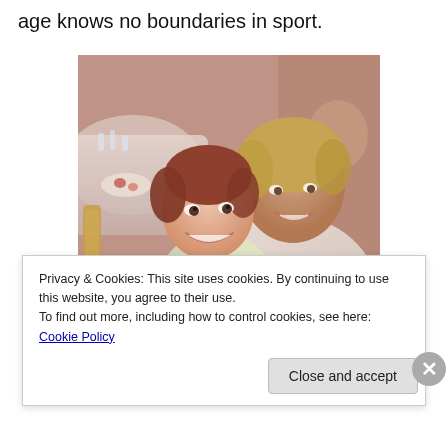age knows no boundaries in sport.
[Figure (photo): Two people posing together at what appears to be a formal event or banquet. A young girl in a sparkly silver/gold dress is smiling at the camera, being hugged from behind by an older woman with short blonde hair wearing a white blazer. Tables with glassware are visible in the background.]
Privacy & Cookies: This site uses cookies. By continuing to use this website, you agree to their use.
To find out more, including how to control cookies, see here: Cookie Policy
Close and accept